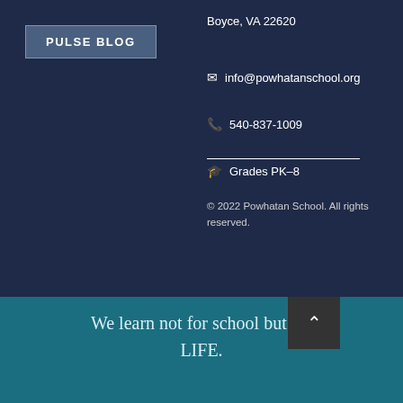PULSE BLOG
Boyce, VA 22620
info@powhatanschool.org
540-837-1009
Grades PK–8
© 2022 Powhatan School. All rights reserved.
We learn not for school but for LIFE.